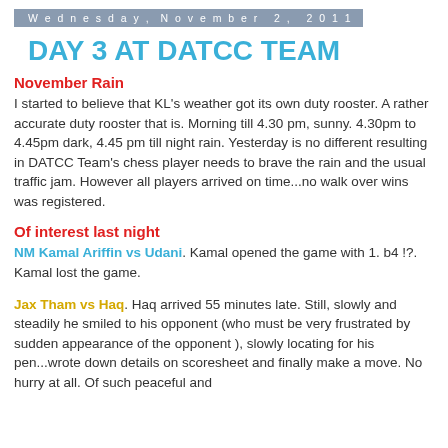Wednesday, November 2, 2011
DAY 3 AT DATCC TEAM
November Rain
I started to believe that KL's weather got its own duty rooster. A rather accurate duty rooster that is. Morning till 4.30 pm, sunny. 4.30pm to 4.45pm dark, 4.45 pm till night rain. Yesterday is no different resulting in DATCC Team's chess player needs to brave the rain and the usual traffic jam. However all players arrived on time...no walk over wins was registered.
Of interest last night
NM Kamal Ariffin vs Udani. Kamal opened the game with 1. b4 !?. Kamal lost the game.
Jax Tham vs Haq. Haq arrived 55 minutes late. Still, slowly and steadily he smiled to his opponent (who must be very frustrated by sudden appearance of the opponent ), slowly locating for his pen...wrote down details on scoresheet and finally make a move. No hurry at all. Of such peaceful and